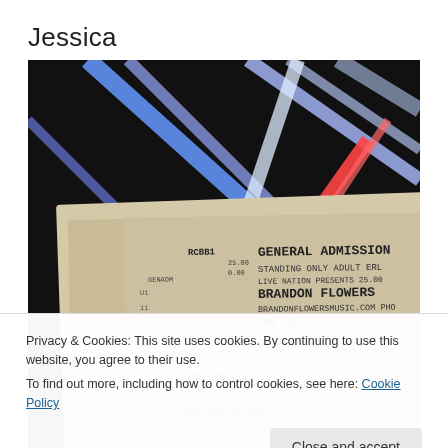Jessica
[Figure (photo): Concert tickets for Brandon Flowers at The Ritz, 2020 Industrial Drive, FRI AUG 14 2015 8:00 PM, General Admission Standing Only Adult, price $25.00, surrounded by colorful glow sticks on a dark background. Ticketmaster branding visible.]
Privacy & Cookies: This site uses cookies. By continuing to use this website, you agree to their use.
To find out more, including how to control cookies, see here: Cookie Policy
Close and accept